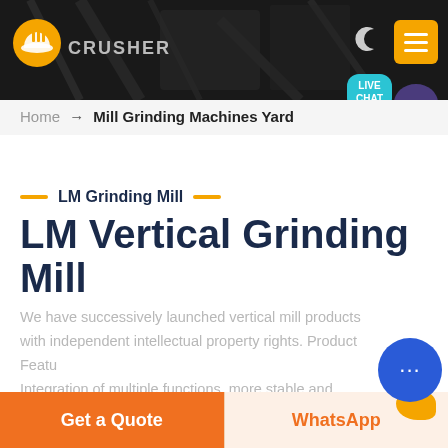[Figure (screenshot): Website header banner with dark rocky background, orange logo with hard-hat icon, site name text partially visible, moon/dark-mode icon, yellow hamburger menu button, and a teal Live Chat speech bubble with purple accent bubble]
Home → Mill Grinding Machines Yard
LM Grinding Mill
LM Vertical Grinding Mill
We have successively launched vertical mill products with independent intellectual property rights. Product Features: Integration of multiple functions, more stable and reliable production and more excellent capacity.